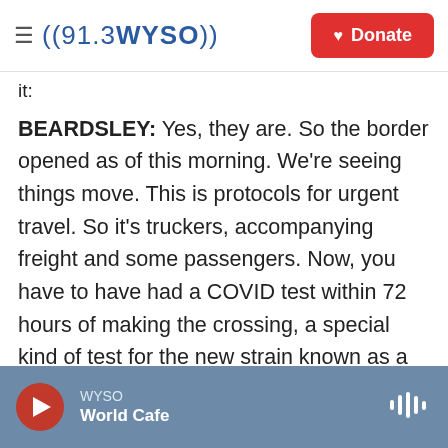((91.3 WYSO)) Donate
it:
BEARDSLEY: Yes, they are. So the border opened as of this morning. We're seeing things move. This is protocols for urgent travel. So it's truckers, accompanying freight and some passengers. Now, you have to have had a COVID test within 72 hours of making the crossing, a special kind of test for the new strain known as a lateral flow test, I've read. The results come back in 30 minutes. But, you know, it's pretty hard to get when you're stuck in your truck, you know, on the highway...
KING: Yeah.
WYSO World Cafe